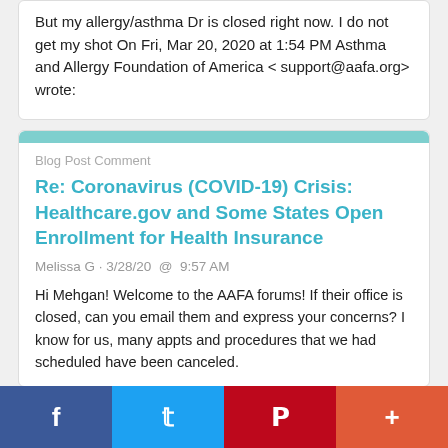But my allergy/asthma Dr is closed right now. I do not get my shot On Fri, Mar 20, 2020 at 1:54 PM Asthma and Allergy Foundation of America < support@aafa.org> wrote:
Blog Post Comment
Re: Coronavirus (COVID-19) Crisis: Healthcare.gov and Some States Open Enrollment for Health Insurance
Melissa G · 3/28/20  @  9:57 AM
Hi Mehgan! Welcome to the AAFA forums! If their office is closed, can you email them and express your concerns? I know for us, many appts and procedures that we had scheduled have been canceled.